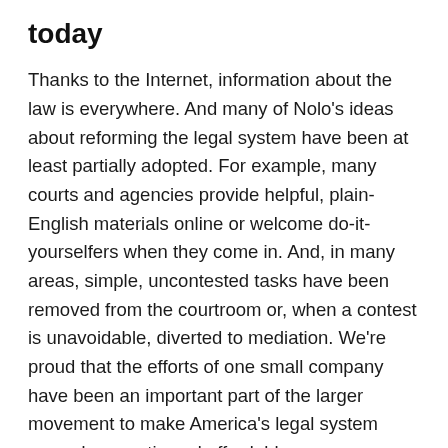today
Thanks to the Internet, information about the law is everywhere. And many of Nolo's ideas about reforming the legal system have been at least partially adopted. For example, many courts and agencies provide helpful, plain-English materials online or welcome do-it-yourselfers when they come in. And, in many areas, simple, uncontested tasks have been removed from the courtroom or, when a contest is unavoidable, diverted to mediation. We're proud that the efforts of one small company have been an important part of the larger movement to make America's legal system more democratic and affordable.
But at Nolo we know that America is still far from a